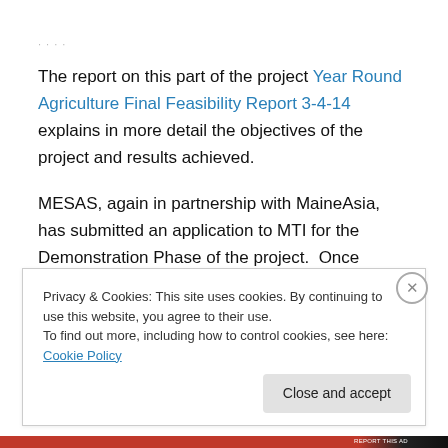· · · ·
The report on this part of the project Year Round Agriculture Final Feasibility Report 3-4-14 explains in more detail the objectives of the project and results achieved.
MESAS, again in partnership with MaineAsia, has submitted an application to MTI for the Demonstration Phase of the project.  Once funded, the project seeks to
Privacy & Cookies: This site uses cookies. By continuing to use this website, you agree to their use.
To find out more, including how to control cookies, see here: Cookie Policy
Close and accept